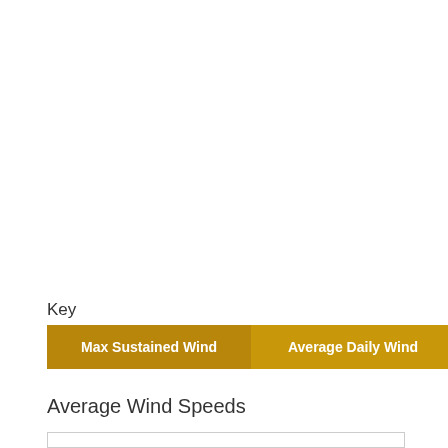Key
[Figure (infographic): Legend showing two colored boxes: 'Max Sustained Wind' in dark golden/brown color and 'Average Daily Wind' in lighter golden color]
Average Wind Speeds